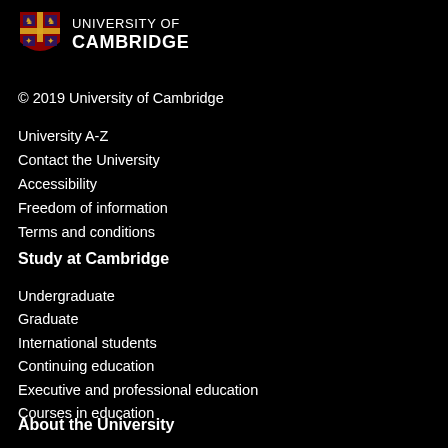[Figure (logo): University of Cambridge crest/shield logo in red, gold, and blue, followed by text UNIVERSITY OF CAMBRIDGE]
© 2019 University of Cambridge
University A-Z
Contact the University
Accessibility
Freedom of information
Terms and conditions
Study at Cambridge
Undergraduate
Graduate
International students
Continuing education
Executive and professional education
Courses in education
About the University